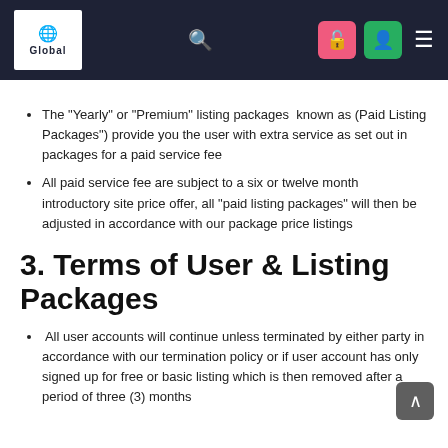Global [navigation bar with logo, search, and icons]
The "Yearly" or "Premium" listing packages known as (Paid Listing Packages") provide you the user with extra service as set out in packages for a paid service fee
All paid service fee are subject to a six or twelve month introductory site price offer, all "paid listing packages" will then be adjusted in accordance with our package price listings
3. Terms of User & Listing Packages
All user accounts will continue unless terminated by either party in accordance with our termination policy or if user account has only signed up for free or basic listing which is then removed after a period of three (3) months